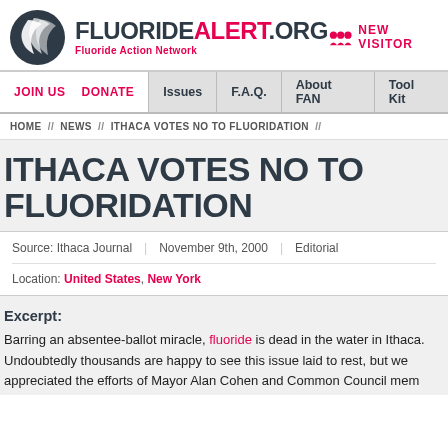FLUORIDEALERT.ORG Fluoride Action Network | NEW VISITOR
JOIN US  DONATE  Issues  F.A.Q.  About FAN  Tool Kit
HOME // NEWS // ITHACA VOTES NO TO FLUORIDATION //
ITHACA VOTES NO TO FLUORIDATION
Source: Ithaca Journal | November 9th, 2000 | Editorial
Location: United States, New York
Excerpt:
Barring an absentee-ballot miracle, fluoride is dead in the water in Ithaca. Undoubtedly thousands are happy to see this issue laid to rest, but we appreciated the efforts of Mayor Alan Cohen and Common Council mem